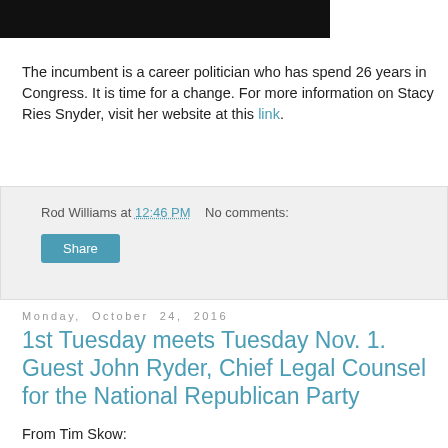[Figure (other): Black rectangular banner/image at top of page]
The incumbent is a career politician who has spend 26 years in Congress. It is time for a change. For more information on Stacy Ries Snyder, visit her website at this link.
Rod Williams at 12:46 PM   No comments:
Share
Monday, October 24, 2016
1st Tuesday meets Tuesday Nov. 1. Guest John Ryder, Chief Legal Counsel for the National Republican Party
From Tim Skow:
GREETINGS from the TRUMP Rally featuring Donald Jr.